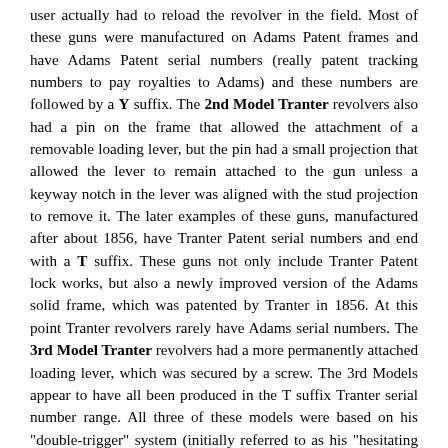user actually had to reload the revolver in the field. Most of these guns were manufactured on Adams Patent frames and have Adams Patent serial numbers (really patent tracking numbers to pay royalties to Adams) and these numbers are followed by a Y suffix. The 2nd Model Tranter revolvers also had a pin on the frame that allowed the attachment of a removable loading lever, but the pin had a small projection that allowed the lever to remain attached to the gun unless a keyway notch in the lever was aligned with the stud projection to remove it. The later examples of these guns, manufactured after about 1856, have Tranter Patent serial numbers and end with a T suffix. These guns not only include Tranter Patent lock works, but also a newly improved version of the Adams solid frame, which was patented by Tranter in 1856. At this point Tranter revolvers rarely have Adams serial numbers. The 3rd Model Tranter revolvers had a more permanently attached loading lever, which was secured by a screw. The 3rd Models appear to have all been produced in the T suffix Tranter serial number range. All three of these models were based on his "double-trigger" system (initially referred to as his "hesitating mechanism" on the early production guns), which utilized a second "trigger" under the trigger guard to rotate the cylinder and cock the hammer. The trigger inside the triggerguard was used to trip the sear and release the hammer to fire the revolver. A rarely